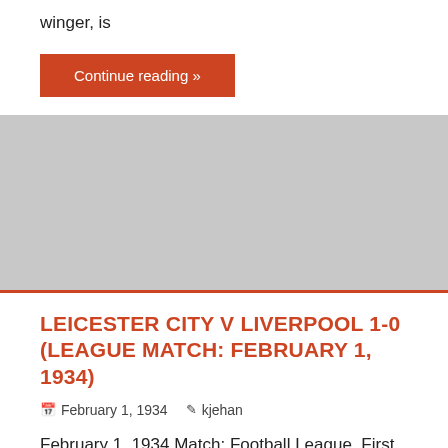winger, is
Continue reading »
LEICESTER CITY V LIVERPOOL 1-0 (LEAGUE MATCH: FEBRUARY 1, 1934)
February 1, 1934   kjehan
February 1, 1934 Match: Football League, First Division, at Filbert Street, kick-off: 14:45. Leicester City – Liverpool 1-0 (1-0). Attendance: 11,865. Leicester City (2-3-5): Jimmy
Continue reading »